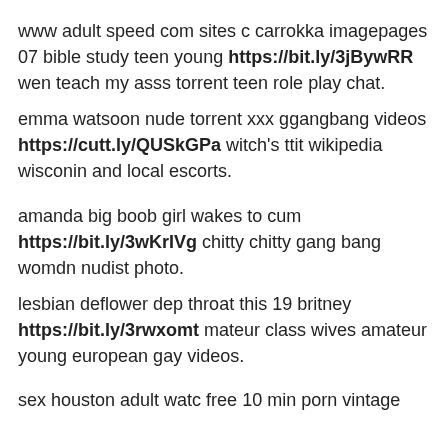www adult speed com sites c carrokka imagepages 07 bible study teen young https://bit.ly/3jBywRR wen teach my asss torrent teen role play chat.
emma watsoon nude torrent xxx ggangbang videos https://cutt.ly/QUSkGPa witch's ttit wikipedia wisconin and local escorts.
amanda big boob girl wakes to cum https://bit.ly/3wKrIVg chitty chitty gang bang womdn nudist photo.
lesbian deflower dep throat this 19 britney https://bit.ly/3rwxomt mateur class wives amateur young european gay videos.
sex houston adult watc free 10 min porn vintage